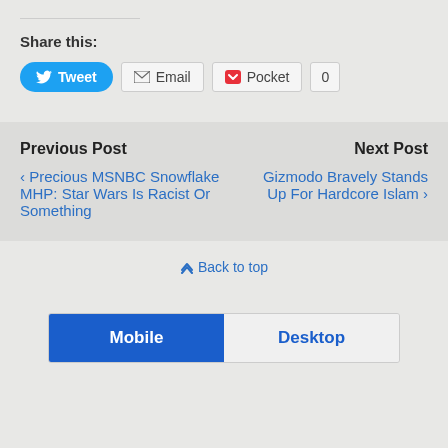Share this:
[Figure (screenshot): Social sharing buttons: Tweet (blue, Twitter bird icon), Email (with envelope icon), Pocket (with Pocket icon and count of 0)]
Previous Post
Next Post
‹ Precious MSNBC Snowflake MHP: Star Wars Is Racist Or Something
Gizmodo Bravely Stands Up For Hardcore Islam ›
↑ Back to top
[Figure (screenshot): Mobile/Desktop toggle button with Mobile selected (blue) and Desktop unselected (light gray)]